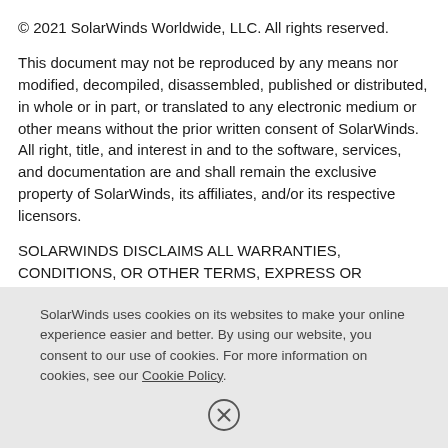© 2021 SolarWinds Worldwide, LLC. All rights reserved.
This document may not be reproduced by any means nor modified, decompiled, disassembled, published or distributed, in whole or in part, or translated to any electronic medium or other means without the prior written consent of SolarWinds. All right, title, and interest in and to the software, services, and documentation are and shall remain the exclusive property of SolarWinds, its affiliates, and/or its respective licensors.
SOLARWINDS DISCLAIMS ALL WARRANTIES, CONDITIONS, OR OTHER TERMS, EXPRESS OR IMPLIED, STATUTORY OR OTHERWISE, ON THE DOCUMENTATION, INCLUDING WITHOUT LIMITATION NONINFRINGEMENT
SolarWinds uses cookies on its websites to make your online experience easier and better. By using our website, you consent to our use of cookies. For more information on cookies, see our Cookie Policy.